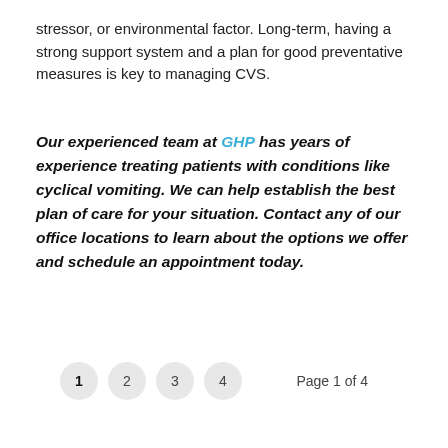stressor, or environmental factor. Long-term, having a strong support system and a plan for good preventative measures is key to managing CVS.
Our experienced team at GHP has years of experience treating patients with conditions like cyclical vomiting. We can help establish the best plan of care for your situation. Contact any of our office locations to learn about the options we offer and schedule an appointment today.
1  2  3  4   Page 1 of 4